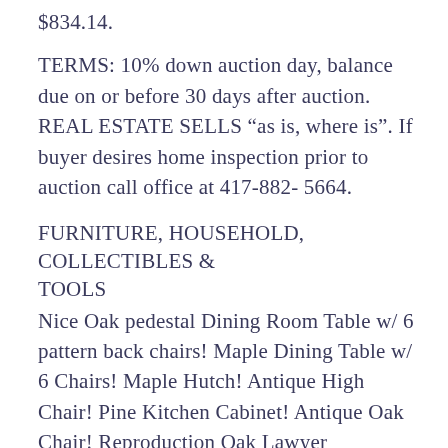$834.14.
TERMS: 10% down auction day, balance due on or before 30 days after auction. REAL ESTATE SELLS “as is, where is”. If buyer desires home inspection prior to auction call office at 417-882- 5664.
FURNITURE, HOUSEHOLD, COLLECTIBLES & TOOLS
Nice Oak pedestal Dining Room Table w/ 6 pattern back chairs! Maple Dining Table w/ 6 Chairs! Maple Hutch! Antique High Chair! Pine Kitchen Cabinet! Antique Oak Chair! Reproduction Oak Lawyer Bookcase! Pine Coffee Table! Upholstered Recliner! 60’s Maple Carpet Rocker! Antique Sewing Rocker! Maple Corner Computer Desk! Oak Kneehole Desk!